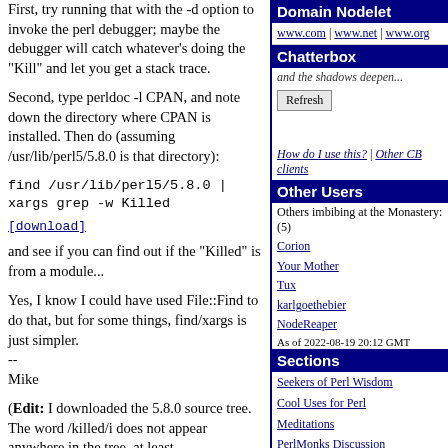First, try running that with the -d option to invoke the perl debugger; maybe the debugger will catch whatever's doing the "Kill" and let you get a stack trace.
Second, type perldoc -l CPAN, and note down the directory where CPAN is installed. Then do (assuming /usr/lib/perl5/5.8.0 is that directory):
[download]
and see if you can find out if the "Killed" is from a module...
Yes, I know I could have used File::Find to do that, but for some things, find/xargs is just simpler.
--
Mike
(Edit: I downloaded the 5.8.0 source tree. The word /killed/i does not appear anywhere in the tree, at least,
Domain Nodelet
www.com | www.net | www.org
Chatterbox
and the shadows deepen...
Refresh
How do I use this? | Other CB clients
Other Users
Others imbibing at the Monastery: (5)
Corion
Your Mother
Tux
karlgoethebier
NodeReaper
As of 2022-08-19 20:12 GMT
Sections
Seekers of Perl Wisdom
Cool Uses for Perl
Meditations
PerlMonks Discussion
Categorized Q&A
Tutorials
Obfuscated Code